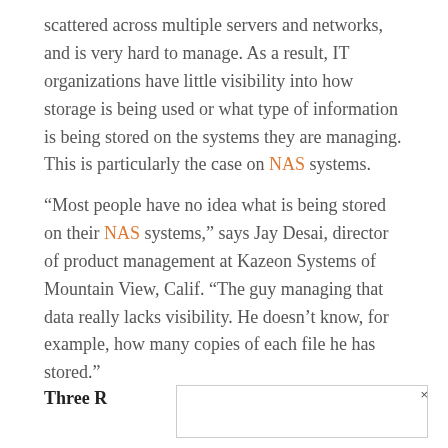scattered across multiple servers and networks, and is very hard to manage. As a result, IT organizations have little visibility into how storage is being used or what type of information is being stored on the systems they are managing. This is particularly the case on NAS systems.
“Most people have no idea what is being stored on their NAS systems,” says Jay Desai, director of product management at Kazeon Systems of Mountain View, Calif. “The guy managing that data really lacks visibility. He doesn’t know, for example, how many copies of each file he has stored.”
Three R